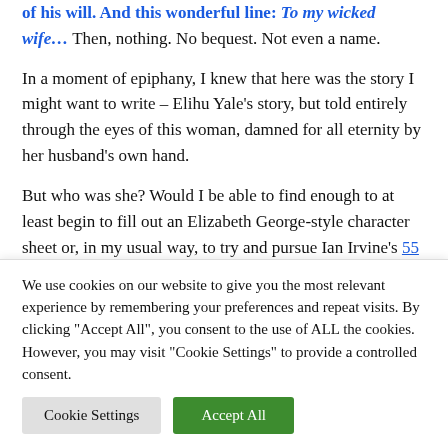of his will. And this wonderful line: To my wicked wife… Then, nothing. No bequest. Not even a name.
In a moment of epiphany, I knew that here was the story I might want to write – Elihu Yale's story, but told entirely through the eyes of this woman, damned for all eternity by her husband's own hand.
But who was she? Would I be able to find enough to at least begin to fill out an Elizabeth George-style character sheet or, in my usual way, to try and pursue Ian Irvine's 55 Ways to Create Compelling Characters
We use cookies on our website to give you the most relevant experience by remembering your preferences and repeat visits. By clicking "Accept All", you consent to the use of ALL the cookies. However, you may visit "Cookie Settings" to provide a controlled consent.